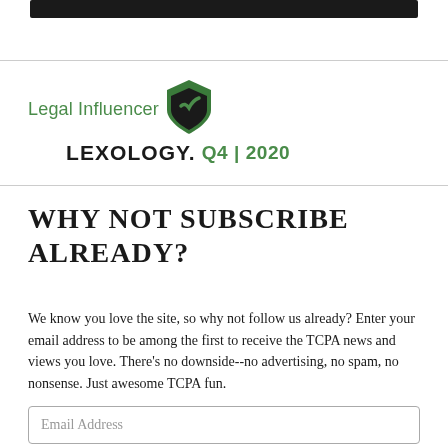[Figure (other): Dark rounded rectangle bar at top of page (UI element / app screenshot top)]
[Figure (logo): Lexology Legal Influencer logo with shield icon and Q4|2020 label]
WHY NOT SUBSCRIBE ALREADY?
We know you love the site, so why not follow us already? Enter your email address to be among the first to receive the TCPA news and views you love. There's no downside--no advertising, no spam, no nonsense. Just awesome TCPA fun.
Email Address